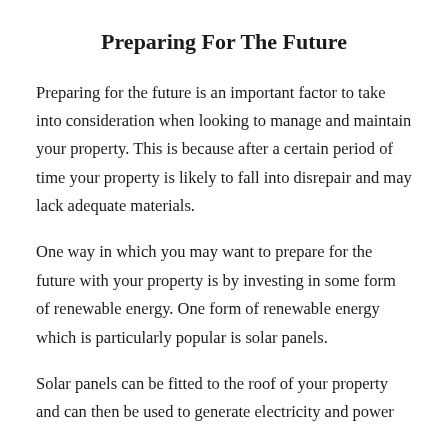Preparing For The Future
Preparing for the future is an important factor to take into consideration when looking to manage and maintain your property. This is because after a certain period of time your property is likely to fall into disrepair and may lack adequate materials.
One way in which you may want to prepare for the future with your property is by investing in some form of renewable energy. One form of renewable energy which is particularly popular is solar panels.
Solar panels can be fitted to the roof of your property and can then be used to generate electricity and power